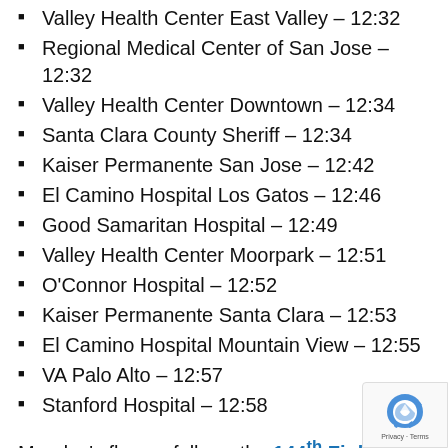Valley Health Center East Valley – 12:32
Regional Medical Center of San Jose – 12:32
Valley Health Center Downtown – 12:34
Santa Clara County Sheriff – 12:34
Kaiser Permanente San Jose – 12:42
El Camino Hospital Los Gatos – 12:46
Good Samaritan Hospital – 12:49
Valley Health Center Moorpark – 12:51
O'Connor Hospital – 12:52
Kaiser Permanente Santa Clara – 12:53
El Camino Hospital Mountain View – 12:55
VA Palo Alto – 12:57
Stanford Hospital – 12:58
Monday's flyover follows the 144th Fighter Wing's flyover in mid-May with four F-15C j